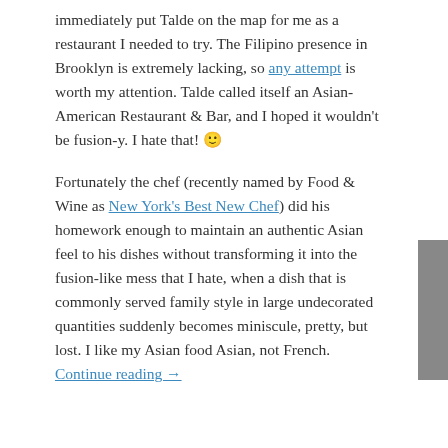immediately put Talde on the map for me as a restaurant I needed to try. The Filipino presence in Brooklyn is extremely lacking, so any attempt is worth my attention. Talde called itself an Asian-American Restaurant & Bar, and I hoped it wouldn't be fusion-y. I hate that! 🙂
Fortunately the chef (recently named by Food & Wine as New York's Best New Chef) did his homework enough to maintain an authentic Asian feel to his dishes without transforming it into the fusion-like mess that I hate, when a dish that is commonly served family style in large undecorated quantities suddenly becomes miniscule, pretty, but lost. I like my Asian food Asian, not French. Continue reading →
This entry was posted in asian, brooklyn, Filipino Food, park slope, Restaurants and tagged asia, dale talde, filipino, park slope, talde on April 3, 2013.